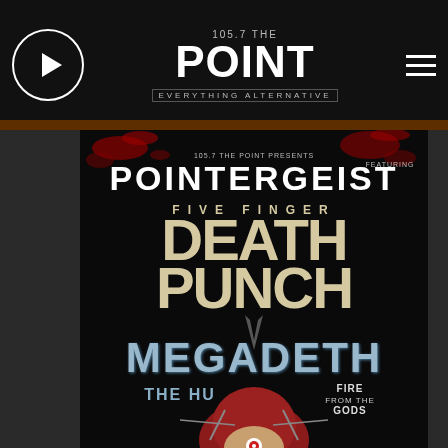105.7 THE POINT — EVERYTHING ALTERNATIVE — Navigation bar
[Figure (illustration): Pointergeist concert poster featuring Five Finger Death Punch, Megadeth, The Hu, and Fire From The Gods. Dark background with red blood splatter effects and illustrated character. Presented by 105.7 The Point.]